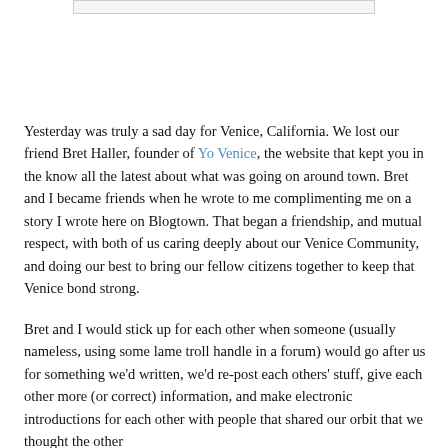[Figure (other): Partial image or banner at the top of the page, partially visible at top edge]
Yesterday was truly a sad day for Venice, California. We lost our friend Bret Haller, founder of Yo Venice, the website that kept you in the know all the latest about what was going on around town. Bret and I became friends when he wrote to me complimenting me on a story I wrote here on Blogtown. That began a friendship, and mutual respect, with both of us caring deeply about our Venice Community, and doing our best to bring our fellow citizens together to keep that Venice bond strong.
Bret and I would stick up for each other when someone (usually nameless, using some lame troll handle in a forum) would go after us for something we'd written, we'd re-post each others' stuff, give each other more (or correct) information, and make electronic introductions for each other with people that shared our orbit that we thought the other